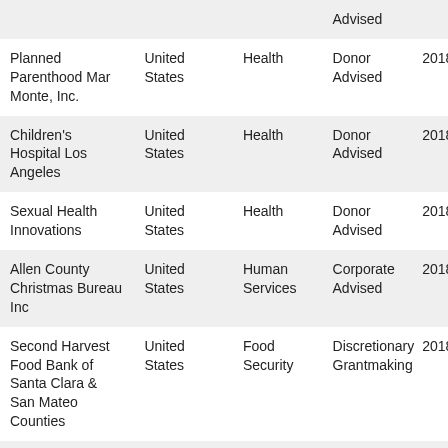|  |  |  | Advised |  |
| Planned Parenthood Mar Monte, Inc. | United States | Health | Donor Advised | 2018 |
| Children's Hospital Los Angeles | United States | Health | Donor Advised | 2018 |
| Sexual Health Innovations | United States | Health | Donor Advised | 2018 |
| Allen County Christmas Bureau Inc | United States | Human Services | Corporate Advised | 2018 |
| Second Harvest Food Bank of Santa Clara & San Mateo Counties | United States | Food Security | Discretionary Grantmaking | 2018 |
| Regents of the University of California At | United States | Education | Donor Advised | 2018 |